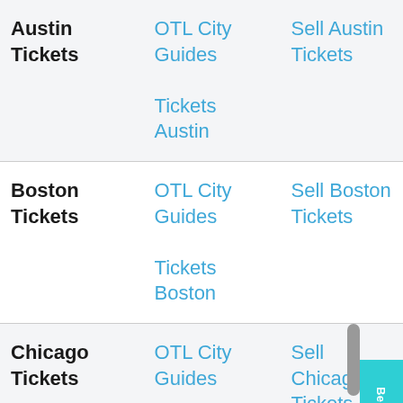| City | Links | Sell |
| --- | --- | --- |
| Austin Tickets | OTL City Guides
Tickets Austin | Sell Austin Tickets |
| Boston Tickets | OTL City Guides
Tickets Boston | Sell Boston Tickets |
| Chicago Tickets | OTL City Guides
Tickets Chicago | Sell Chicago Tickets |
| Denver Tickets | OTL City Guides | Sell Denver Tickets |